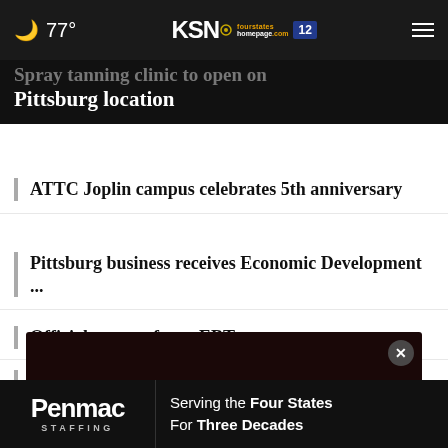77° KSN fourstates homepage.com 12
Spray tanning clinic to open on Pittsburg location
ATTC Joplin campus celebrates 5th anniversary
Pittsburg business receives Economic Development ...
Officials warn of new EBT scam
“Visit Joplin” new website ribbon cutting
[Figure (screenshot): Video player thumbnail showing dark/red background with TAMKO logo overlay and close button]
[Figure (logo): Penmac Staffing advertisement banner: Serving the Four States For Three Decades]